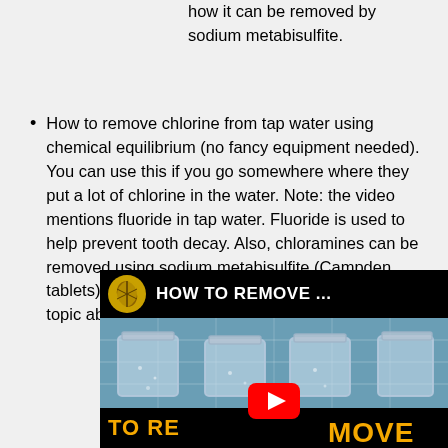how it can be removed by sodium metabisulfite.
How to remove chlorine from tap water using chemical equilibrium (no fancy equipment needed). You can use this if you go somewhere where they put a lot of chlorine in the water. Note: the video mentions fluoride in tap water. Fluoride is used to help prevent tooth decay. Also, chloramines can be removed using sodium metabisulfite (Campden tablets). More information is in the homebrewing topic above.
[Figure (screenshot): YouTube video thumbnail showing glass jars with water and the title 'HOW TO REMOVE ...' displayed at the top, with 'TO REMOVE' text in orange at the bottom and a YouTube play button.]